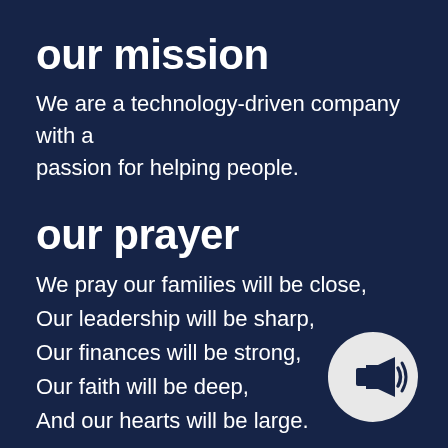our mission
We are a technology-driven company with a passion for helping people.
our prayer
We pray our families will be close,
Our leadership will be sharp,
Our finances will be strong,
Our faith will be deep,
And our hearts will be large.
[Figure (illustration): Light gray circle with a dark navy megaphone/bullhorn icon in the center, positioned in the bottom-right corner.]